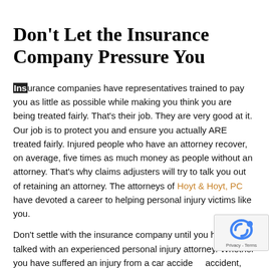Don’t Let the Insurance Company Pressure You
Insurance companies have representatives trained to pay you as little as possible while making you think you are being treated fairly. That’s their job. They are very good at it. Our job is to protect you and ensure you actually ARE treated fairly. Injured people who have an attorney recover, on average, five times as much money as people without an attorney. That’s why claims adjusters will try to talk you out of retaining an attorney. The attorneys of Hoyt & Hoyt, PC have devoted a career to helping personal injury victims like you.
Don’t settle with the insurance company until you have talked with an experienced personal injury attorney. Whether you have suffered an injury from a car accident, dog bite, slip and fall, workplace accident or medical